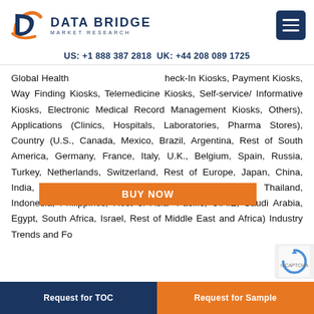Data Bridge Market Research logo and navigation
US: +1 888 387 2818 UK: +44 208 089 1725
BUY NOW
Global Health [Check-In Kiosks, Payment Kiosks, Way Finding Kiosks, Telemedicine Kiosks, Self-service/ Informative Kiosks, Electronic Medical Record Management Kiosks, Others), Applications (Clinics, Hospitals, Laboratories, Pharma Stores), Country (U.S., Canada, Mexico, Brazil, Argentina, Rest of South America, Germany, France, Italy, U.K., Belgium, Spain, Russia, Turkey, Netherlands, Switzerland, Rest of Europe, Japan, China, India, South Korea, Australia, Singapore, Malaysia, Thailand, Indonesia, Philippines, Rest of Asia-Pacific, U.A.E, Saudi Arabia, Egypt, South Africa, Israel, Rest of Middle East and Africa) Industry Trends and Fo
Request for TOC  |  Request for Sample